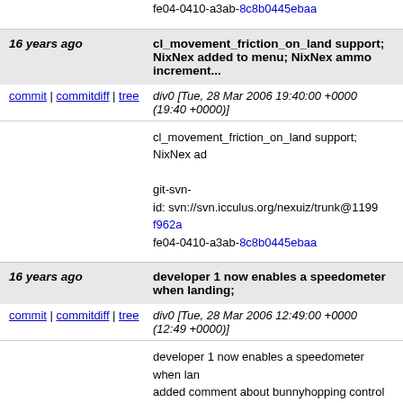fe04-0410-a3ab-8c8b0445ebaa
16 years ago
cl_movement_friction_on_land support; NixNex added to menu; NixNex ammo increment...
commit | commitdiff | tree
div0 [Tue, 28 Mar 2006 19:40:00 +0000 (19:40 +0000)]
cl_movement_friction_on_land support; NixNex added to menu; NixNex ammo increment...
git-svn-id: svn://svn.icculus.org/nexuiz/trunk@1199 f962a fe04-0410-a3ab-8c8b0445ebaa
16 years ago
developer 1 now enables a speedometer when landing;
commit | commitdiff | tree
div0 [Tue, 28 Mar 2006 12:49:00 +0000 (12:49 +0000)]
developer 1 now enables a speedometer when landing; added comment about bunnyhopping control para...
git-svn-id: svn://svn.icculus.org/nexuiz/trunk@1198 f962a fe04-0410-a3ab-8c8b0445ebaa
16 years ago
Sorry, but this time the bunnyhopping